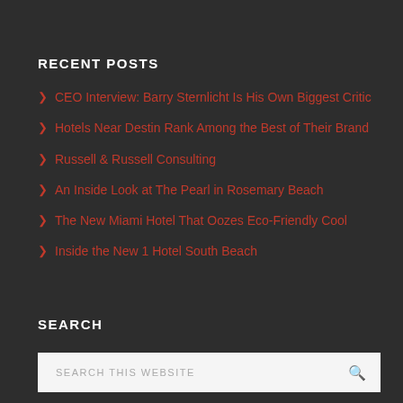RECENT POSTS
CEO Interview: Barry Sternlicht Is His Own Biggest Critic
Hotels Near Destin Rank Among the Best of Their Brand
Russell & Russell Consulting
An Inside Look at The Pearl in Rosemary Beach
The New Miami Hotel That Oozes Eco-Friendly Cool
Inside the New 1 Hotel South Beach
SEARCH
SEARCH THIS WEBSITE